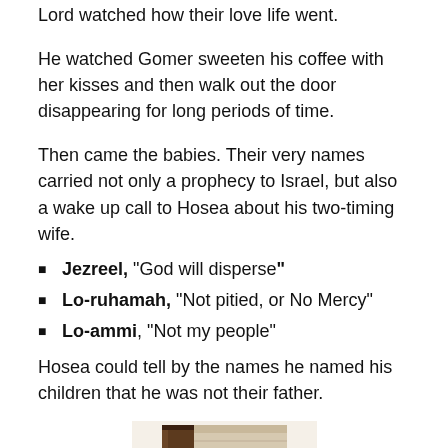Lord watched how their love life went.
He watched Gomer sweeten his coffee with her kisses and then walk out the door disappearing for long periods of time.
Then came the babies. Their very names carried not only a prophecy to Israel, but also a wake up call to Hosea about his two-timing wife.
Jezreel, "God will disperse"
Lo-ruhamah, "Not pitied, or No Mercy"
Lo-ammi, "Not my people"
Hosea could tell by the names he named his children that he was not their father.
[Figure (photo): Old worn book or Bible, shown from the side/spine, with dark leather cover and aged pages]